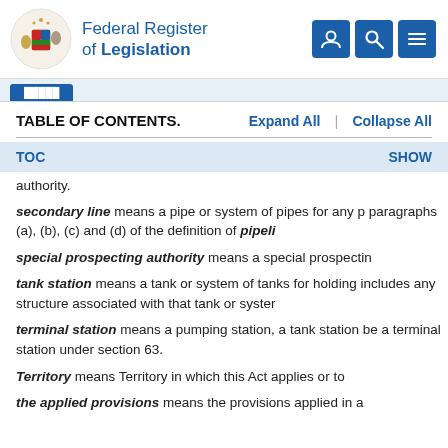Federal Register of Legislation
TABLE OF CONTENTS.   Expand All  |  Collapse All
TOC   SHOW
authority.
secondary line means a pipe or system of pipes for any p paragraphs (a), (b), (c) and (d) of the definition of pipeli
special prospecting authority means a special prospectin
tank station means a tank or system of tanks for holding includes any structure associated with that tank or syster
terminal station means a pumping station, a tank station be a terminal station under section 63.
Territory means Territory in which this Act applies or to
the applied provisions means the provisions applied in a